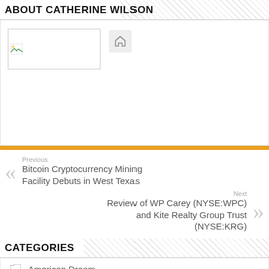ABOUT CATHERINE WILSON
[Figure (other): Author profile area with broken image placeholder and home icon]
Previous
Bitcoin Cryptocurrency Mining Facility Debuts in West Texas
Next
Review of WP Carey (NYSE:WPC) and Kite Realty Group Trust (NYSE:KRG)
CATEGORIES
American Dream
Bitcoin Mining
Dividend Yield